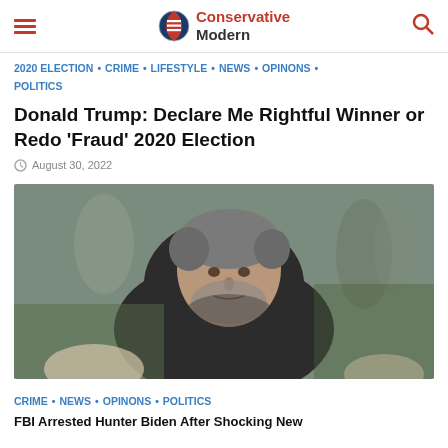Conservative Modern
2020 ELECTION • CRIME • LIFESTYLE • NEWS • OPINONS • POLITICS
Donald Trump: Declare Me Rightful Winner or Redo 'Fraud' 2020 Election
August 30, 2022
[Figure (photo): A man with gray hair and beard in a dark jacket, looking down, with people in the background outdoors.]
CRIME • NEWS • OPINONS • POLITICS
Article headline continues below image